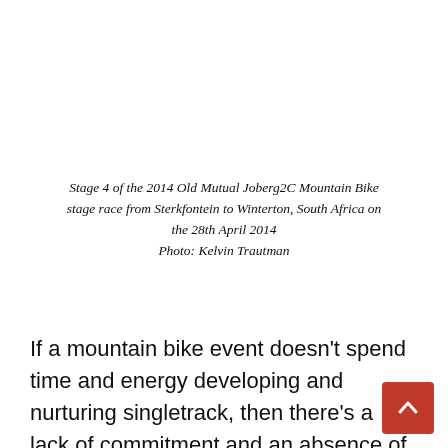Stage 4 of the 2014 Old Mutual Joberg2C Mountain Bike stage race from Sterkfontein to Winterton, South Africa on the 28th April 2014 Photo: Kelvin Trautman
If a mountain bike event doesn't spend time and energy developing and nurturing singletrack, then there's a lack of commitment and an absence of soul. And for many South Africans this is okay. But at the Old Mutual